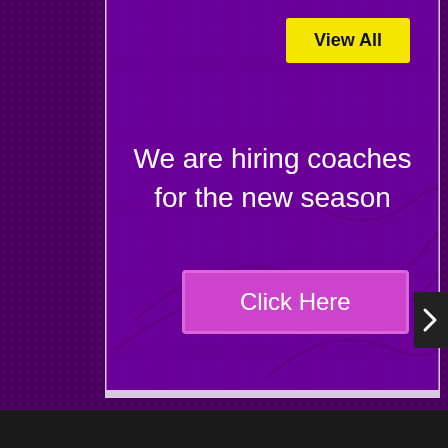[Figure (screenshot): Website screenshot showing a purple promotional banner with dotted/halftone background texture, a yellow 'View All' button in the top right, white text reading 'We are hiring coaches for the new season', a purple 'Click Here' call-to-action button, and decorative swoosh lines in the background. A dark navigation arrow is partially visible on the right edge. The bottom of the page shows a dark gray bar.]
View All
We are hiring coaches for the new season
Click Here